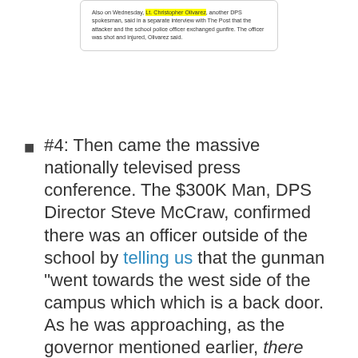Also on Wednesday, Lt. Christopher Olivarez, another DPS spokesman, said in a separate interview with The Post that the attacker and the school police officer exchanged gunfire. The officer was shot and injured, Olivarez said.
#4: Then came the massive nationally televised press conference. The $300K Man, DPS Director Steve McCraw, confirmed there was an officer outside of the school by telling us that the gunman "went towards the west side of the campus which which is a back door. As he was approaching, as the governor mentioned earlier, there was a brave consolidated independent